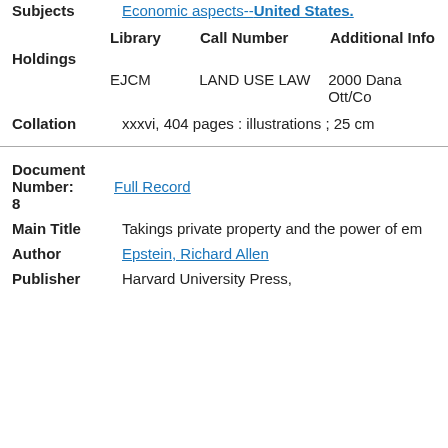Subjects   Economic aspects--United States.
| Library | Call Number | Additional Info |
| --- | --- | --- |
| EJCM | LAND USE LAW | 2000 Dana Ott/Co |
Holdings
Collation   xxxvi, 404 pages : illustrations ; 25 cm
Document Number: 8   Full Record
Main Title   Takings private property and the power of em
Author   Epstein, Richard Allen
Publisher   Harvard University Press,